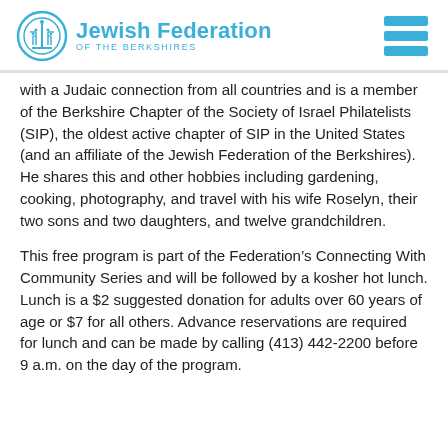Jewish Federation OF THE BERKSHIRES
with a Judaic connection from all countries and is a member of the Berkshire Chapter of the Society of Israel Philatelists (SIP), the oldest active chapter of SIP in the United States (and an affiliate of the Jewish Federation of the Berkshires). He shares this and other hobbies including gardening, cooking, photography, and travel with his wife Roselyn, their two sons and two daughters, and twelve grandchildren.
This free program is part of the Federation’s Connecting With Community Series and will be followed by a kosher hot lunch. Lunch is a $2 suggested donation for adults over 60 years of age or $7 for all others. Advance reservations are required for lunch and can be made by calling (413) 442-2200 before 9 a.m. on the day of the program.